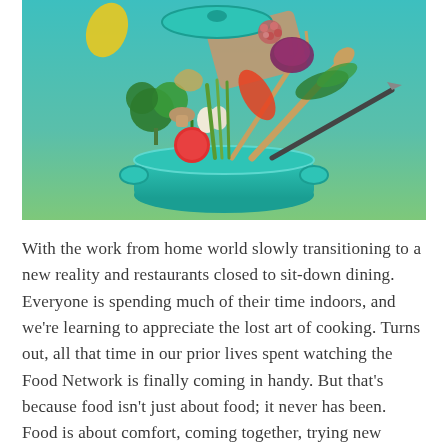[Figure (photo): A teal/turquoise cooking pot with vegetables, kitchen utensils, herbs, and ingredients floating dramatically above it against a teal-to-green gradient background. Items include broccoli, tomatoes, red onion, garlic, peppers, mushrooms, a wooden spoon, fork, chef's knife, and a cutting board.]
With the work from home world slowly transitioning to a new reality and restaurants closed to sit-down dining. Everyone is spending much of their time indoors, and we're learning to appreciate the lost art of cooking. Turns out, all that time in our prior lives spent watching the Food Network is finally coming in handy. But that's because food isn't just about food; it never has been. Food is about comfort, coming together, trying new things, and exploring the world through taste. At its heart,